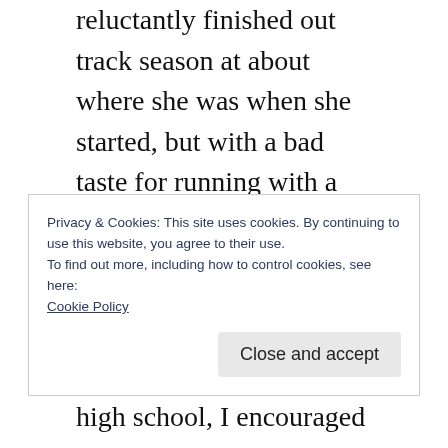reluctantly finished out track season at about where she was when she started, but with a bad taste for running with a school team or a group, although she continued to run on her own.
When she was starting high school, I encouraged her to try out for cross country. My daughter had run several 5ks, a 10k, and two half marathons at that point, and she preferred longer distances over shorter ones that track
Privacy & Cookies: This site uses cookies. By continuing to use this website, you agree to their use.
To find out more, including how to control cookies, see here:
Cookie Policy
Close and accept
lifining thatian like the alder hide